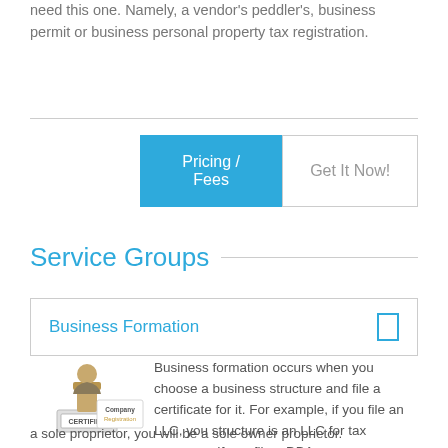need this one. Namely, a vendor's peddler's, business permit or business personal property tax registration.
Service Groups
Business Formation
Business formation occurs when you choose a business structure and file a certificate for it. For example, if you file an LLC, you structure is an LLC for tax purposes. If you file a DBA as a sole proprietor, you will be a sole owner proprietor.